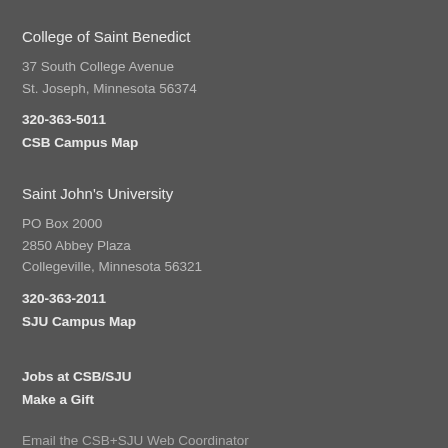College of Saint Benedict
37 South College Avenue
St. Joseph, Minnesota 56374
320-363-5011
CSB Campus Map
Saint John's University
PO Box 2000
2850 Abbey Plaza
Collegeville, Minnesota 56321
320-363-2011
SJU Campus Map
Jobs at CSB/SJU
Make a Gift
Email the CSB+SJU Web Coordinator
Non-discrimination/Affirmative Action/Equal Opportunity